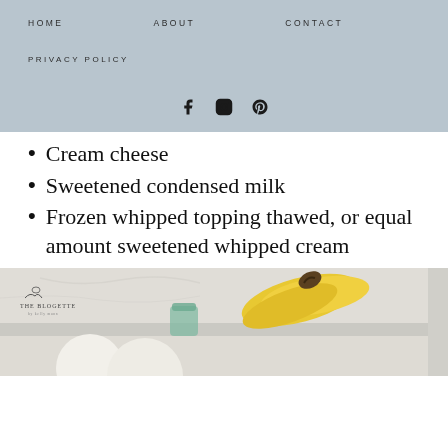HOME   ABOUT   CONTACT   PRIVACY POLICY
[Figure (other): Social media icons: Facebook, Instagram, Pinterest]
Cream cheese
Sweetened condensed milk
Frozen whipped topping thawed, or equal amount sweetened whipped cream
[Figure (photo): Food styling photo showing bananas and a bowl on a white marble surface, with The Blogette watermark logo in top left]